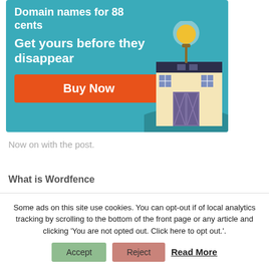[Figure (illustration): Advertisement banner with teal background showing 'Domain names for 88 cents - Get yours before they disappear' with an orange Buy Now button and an illustration of a store building with a light bulb on top]
Now on with the post.
What is Wordfence
Some ads on this site use cookies. You can opt-out if of local analytics tracking by scrolling to the bottom of the front page or any article and clicking 'You are not opted out. Click here to opt out.'.
Accept
Reject
Read More